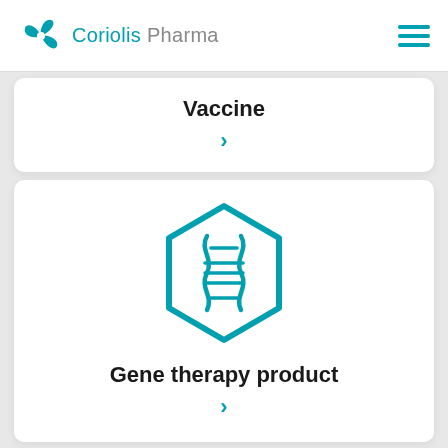Coriolis Pharma
Vaccine
[Figure (illustration): Teal hexagon icon containing a DNA double helix strand symbol]
Gene therapy product